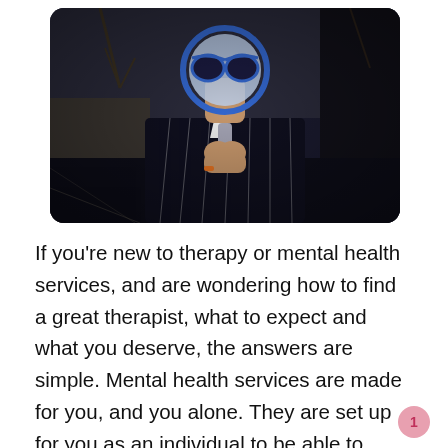[Figure (photo): A person in a dark pinstripe suit holding a magnifying glass up to their face, wearing large blue-framed sunglasses visible through the lens. Outdoor background with blurred trees and pavement.]
If you're new to therapy or mental health services, and are wondering how to find a great therapist, what to expect and what you deserve, the answers are simple. Mental health services are made for you, and you alone. They are set up for you as an individual to be able to express your story, feelings, pain and the way